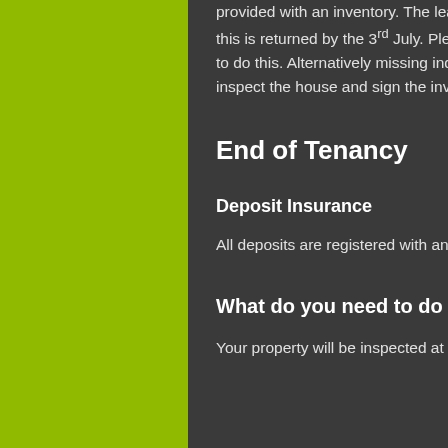provided with an inventory. The lead tenant with members of the group need to ensure that this is returned by the 3rd July. Please ensure that all members of your group are available to do this. Alternatively missing individuals need to give their authority to their co-tenants to inspect the house and sign the inventory.
End of Tenancy
Deposit Insurance
All deposits are registered with and insured through the www.mydeposit.co.uk
What do you need to do to get your deposit back in full?
Your property will be inspected at an agreed date and will then provide you with